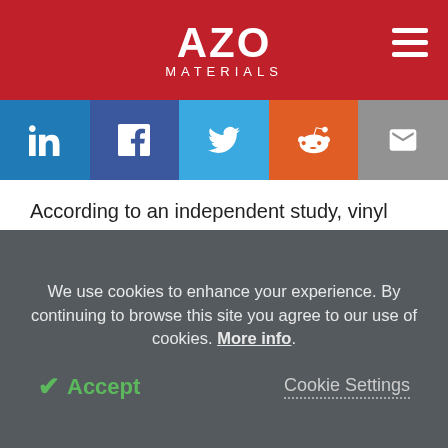AZO MATERIALS
[Figure (infographic): Social sharing bar with LinkedIn, Facebook, Twitter, Reddit, and Email buttons]
According to an independent study, vinyl uses less energy to make, generates fewer emissions and requires fewer natural resources than some of the other leading packaging materials.
In transportation and construction applications, vinyl is one of three plastic materials with the lowest
We use cookies to enhance your experience. By continuing to browse this site you agree to our use of cookies. More info.
✔ Accept   Cookie Settings